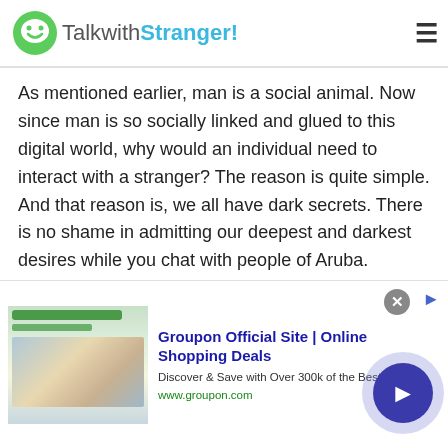TalkwithStranger!
As mentioned earlier, man is a social animal. Now since man is so socially linked and glued to this digital world, why would an individual need to interact with a stranger? The reason is quite simple. And that reason is, we all have dark secrets. There is no shame in admitting our deepest and darkest desires while you chat with people of Aruba. However, we cannot express these deepest and darkest desires to any of our close ones. Say, for instance, you might have a crush on your girl-best friends. Can you tell your other friends about it? No. You will not even tell you that best friend whom you
[Figure (other): Advertisement for Groupon Official Site | Online Shopping Deals. Thumbnail image showing Groupon website screenshot with green search bar and lifestyle photos. Ad text: Groupon Official Site | Online Shopping Deals. Discover & Save with Over 300k of the Best Deals. www.groupon.com]